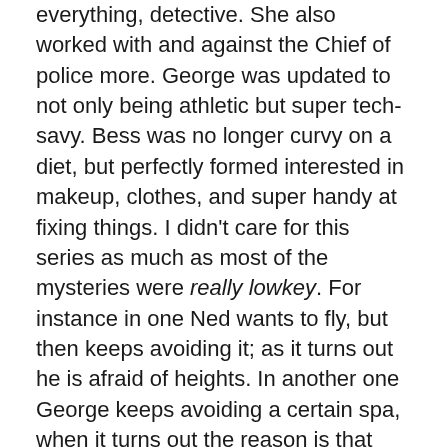everything, detective. She also worked with and against the Chief of police more. George was updated to not only being athletic but super tech-savy. Bess was no longer curvy on a diet, but perfectly formed interested in makeup, clothes, and super handy at fixing things. I didn't care for this series as much as most of the mysteries were really lowkey. For instance in one Ned wants to fly, but then keeps avoiding it; as it turns out he is afraid of heights. In another one George keeps avoiding a certain spa, when it turns out the reason is that she applied for a job there and was turned down. In one they are reenacting the Civil War, and a website like Ancestry.com is ripping people off telling them they are all descendants of Union generals who did amazing things during the war. Boring.
Then they had the graphic novels and I LOVED these! I highly recommend the whole series if you have yet to read